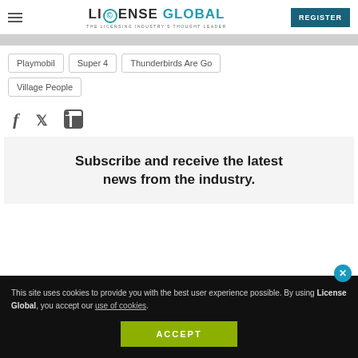LICENSE GLOBAL — THE LICENSING INDUSTRY'S THOUGHT LEADER | REGISTER
Playmobil
Super 4
Thunderbirds Are Go
Village People
[Figure (other): Social share icons: Facebook, Twitter, LinkedIn]
Subscribe and receive the latest news from the industry.
This site uses cookies to provide you with the best user experience possible. By using License Global, you accept our use of cookies.
ACCEPT